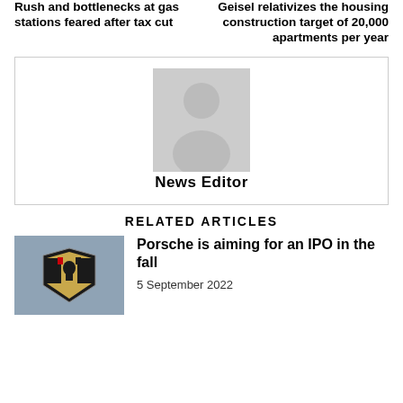Rush and bottlenecks at gas stations feared after tax cut
Geisel relativizes the housing construction target of 20,000 apartments per year
[Figure (illustration): Author placeholder avatar silhouette on grey background]
News Editor
RELATED ARTICLES
[Figure (photo): Porsche logo/crest on a car, gold and black emblem]
Porsche is aiming for an IPO in the fall
5 September 2022